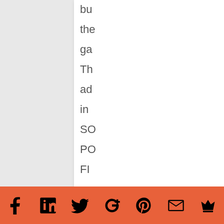bu
the
ga
Th
ad
in
SO
PO
FI
an
ke
sti
arc
lov
he
a
Social media icons: Facebook, LinkedIn, Twitter, Google+, Pinterest, Email, Crown